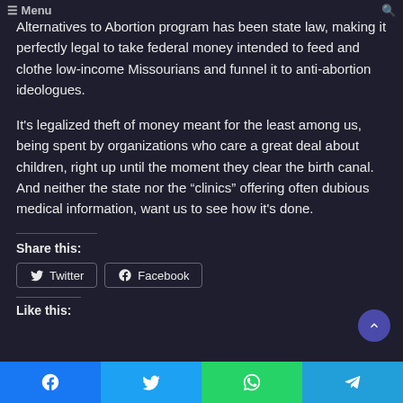Menu
Alternatives to Abortion program has been state law, making it perfectly legal to take federal money intended to feed and clothe low-income Missourians and funnel it to anti-abortion ideologues.
It's legalized theft of money meant for the least among us, being spent by organizations who care a great deal about children, right up until the moment they clear the birth canal. And neither the state nor the “clinics” offering often dubious medical information, want us to see how it's done.
Share this:
Twitter  Facebook
Like this: